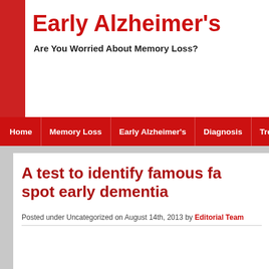Early Alzheimer's
Are You Worried About Memory Loss?
Home | Memory Loss | Early Alzheimer's | Diagnosis | Treatment | Pra...
A test to identify famous faces to spot early dementia
Posted under Uncategorized on August 14th, 2013 by Editorial Team
A new study suggests that asking patients to identify pictures of famous faces can help spot early dementia.
A study published in the journal Neurology found that people with early-onset primary progressive aphasia (PPA), a rare form of dementia, found it difficult to identify 20 black and white photographs of famous people such as Princess Diana, Elvis Presley and Bill Gates.
The research team found that people with early-onset dementia score...